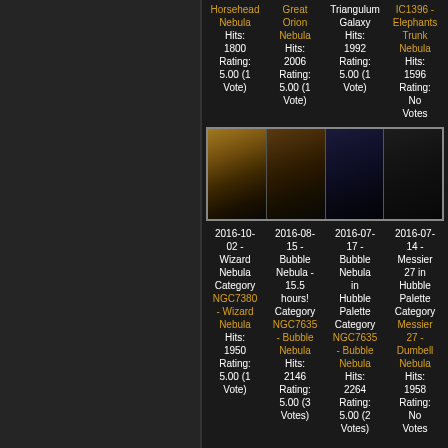Horsehead Nebula Hits: 1800 Rating: 5.00 (1 Vote) | Great Orion Nebula Hits: 2006 Rating: 5.00 (1 Vote) | Triangulum Galaxy Hits: 1992 Rating: 5.00 (1 Vote) | IC1396 - Elephants Trunk Nebula Hits: 1596 Rating: No Votes
[Figure (photo): Four astronomical photos side by side: orange/brown nebula, dark brown nebula, dark blue star field, dark star field]
2016-10-02 - Wizard Nebula Category NGC7380 - Wizard Nebula Hits: 1950 Rating: 5.00 (1 Vote) | 2016-08-15 - Bubble Nebula - 15.5 hours! Category NGC7635 - Bubble Nebula Hits: 2146 Rating: 5.00 (3 Votes) | 2016-07-17 - Bubble Nebula in Hubble Palette Category NGC7635 - Bubble Nebula Hits: 2264 Rating: 5.00 (2 Votes) | 2016-07-14 - Messier 27 in Hubble Palette Category Messier 27 - Dumbell Nebula Hits: 1958 Rating: No Votes